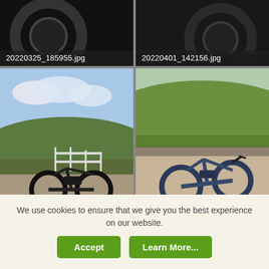[Figure (photo): Close-up of electric bike tire/wheel on dark background, filename: 20220325_185955.jpg]
[Figure (photo): Close-up of electric bike wheel on dark background, filename: 20220401_142156.jpg]
[Figure (photo): Black fat-tire e-bike parked on cobblestone patio with white fence and countryside behind, filename: 20220401_142622.jpg]
[Figure (photo): Blue e-bike on gravel path with dry stone wall and green hills behind, filename: 20220402_162422.jpg]
[Figure (photo): E-bike leaning on countryside scene with rolling green hills, filename: partial view]
We use cookies to ensure that we give you the best experience on our website.
Accept
Learn More...